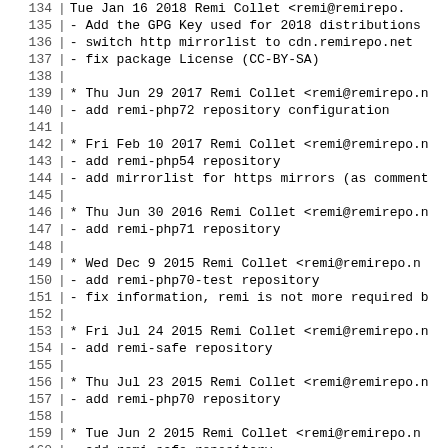134  Tue Jan 16 2018 Remi Collet <remi@remirepo.n
135 - Add the GPG Key used for 2018 distributions
136 - switch http mirrorlist to cdn.remirepo.net
137 - fix package License (CC-BY-SA)
138
139  * Thu Jun 29 2017 Remi Collet <remi@remirepo.n
140 - add remi-php72 repository configuration
141
142  * Fri Feb 10 2017 Remi Collet <remi@remirepo.n
143 - add remi-php54 repository
144 - add mirrorlist for https mirrors (as comment
145
146  * Thu Jun 30 2016 Remi Collet <remi@remirepo.n
147 - add remi-php71 repository
148
149  * Wed Dec  9 2015 Remi Collet <remi@remirepo.n
150 - add remi-php70-test repository
151 - fix information, remi is not more required b
152
153  * Fri Jul 24 2015 Remi Collet <remi@remirepo.n
154 - add remi-safe repository
155
156  * Thu Jul 23 2015 Remi Collet <remi@remirepo.n
157 - add remi-php70 repository
158
159  * Tue Jun  2 2015 Remi Collet <remi@remirepo.n
160 - add remi-safe repository
161 - translate repository name
162 - update repository configuration for "remirep
163
164  * Thu Apr 24 2014 Remi Collet <RPMS@FamilleCol